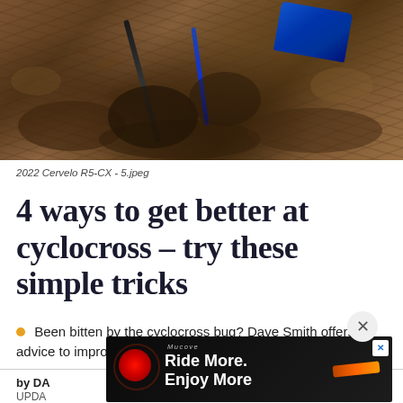[Figure (photo): Close-up action photo of a cyclocross bike wheel and rider's shoe/leg in muddy dirt terrain, showing the bike frame and blue cycling shoe with mud spraying around]
2022 Cervelo R5-CX - 5.jpeg
4 ways to get better at cyclocross – try these simple tricks
Been bitten by the cyclocross bug? Dave Smith offers advice to improve life in the dirt
by DA
UPDA
[Figure (photo): Advertisement overlay showing a red bicycle light on dark background with text 'Ride More. Enjoy More' in white bold font on black background, with an orange accessory visible]